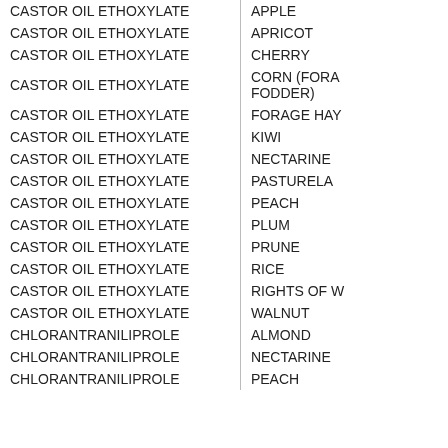| Active Ingredient | Crop/Use |
| --- | --- |
| CASTOR OIL ETHOXYLATE | APPLE |
| CASTOR OIL ETHOXYLATE | APRICOT |
| CASTOR OIL ETHOXYLATE | CHERRY |
| CASTOR OIL ETHOXYLATE | CORN (FORA... FODDER) |
| CASTOR OIL ETHOXYLATE | FORAGE HAY |
| CASTOR OIL ETHOXYLATE | KIWI |
| CASTOR OIL ETHOXYLATE | NECTARINE |
| CASTOR OIL ETHOXYLATE | PASTURELA... |
| CASTOR OIL ETHOXYLATE | PEACH |
| CASTOR OIL ETHOXYLATE | PLUM |
| CASTOR OIL ETHOXYLATE | PRUNE |
| CASTOR OIL ETHOXYLATE | RICE |
| CASTOR OIL ETHOXYLATE | RIGHTS OF W... |
| CASTOR OIL ETHOXYLATE | WALNUT |
| CHLORANTRANILIPROLE | ALMOND |
| CHLORANTRANILIPROLE | NECTARINE |
| CHLORANTRANILIPROLE | PEACH |